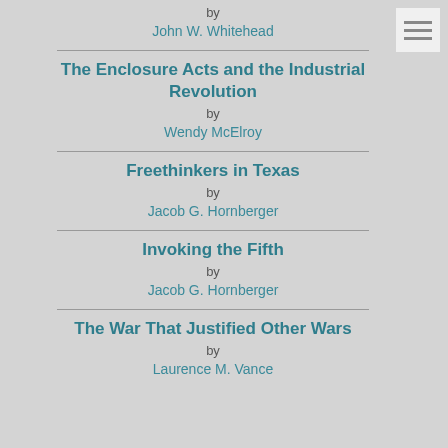by
John W. Whitehead
The Enclosure Acts and the Industrial Revolution
by
Wendy McElroy
Freethinkers in Texas
by
Jacob G. Hornberger
Invoking the Fifth
by
Jacob G. Hornberger
The War That Justified Other Wars
by
Laurence M. Vance